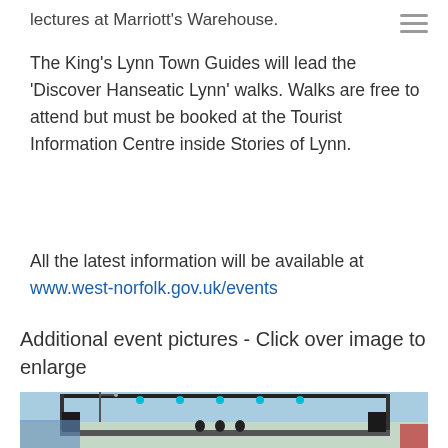lectures at Marriott's Warehouse.
The King's Lynn Town Guides will lead the 'Discover Hanseatic Lynn' walks. Walks are free to attend but must be booked at the Tourist Information Centre inside Stories of Lynn.
All the latest information will be available at www.west-norfolk.gov.uk/events
Additional event pictures - Click over image to enlarge
[Figure (photo): Outdoor concert stage with trussing, stage lights, musicians performing, flags in foreground, blue sky background.]